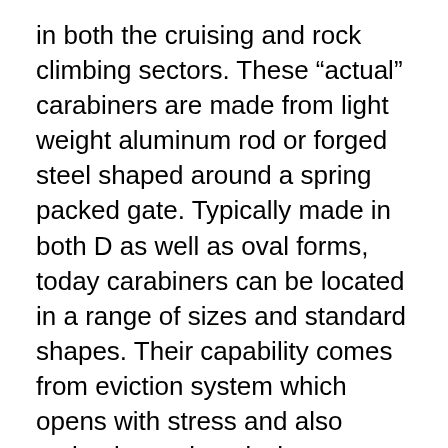in both the cruising and rock climbing sectors. These “actual” carabiners are made from light weight aluminum rod or forged steel shaped around a spring packed gate. Typically made in both D as well as oval forms, today carabiners can be located in a range of sizes and standard shapes. Their capability comes from eviction system which opens with stress and also springtimes closed when released allowing carabiners to hold and also be attached to various objects.
This post is worried not with the lots bearing selection of carabiners, yet with the much smaller sized “replica” or “advertising” carabiners utilized primarily as keychains. Advertising carabiners are about 1/3 the dimension of “actual” carabiners and are no